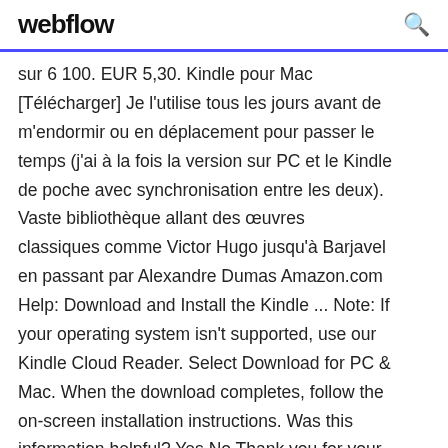webflow
sur 6 100. EUR 5,30. Kindle pour Mac [Télécharger] Je l'utilise tous les jours avant de m'endormir ou en déplacement pour passer le temps (j'ai à la fois la version sur PC et le Kindle de poche avec synchronisation entre les deux). Vaste bibliothèque allant des œuvres classiques comme Victor Hugo jusqu'à Barjavel en passant par Alexandre Dumas Amazon.com Help: Download and Install the Kindle ... Note: If your operating system isn't supported, use our Kindle Cloud Reader. Select Download for PC & Mac. When the download completes, follow the on-screen installation instructions. Was this information helpful? Yes No Thank you for your feedback. Please select what best describes